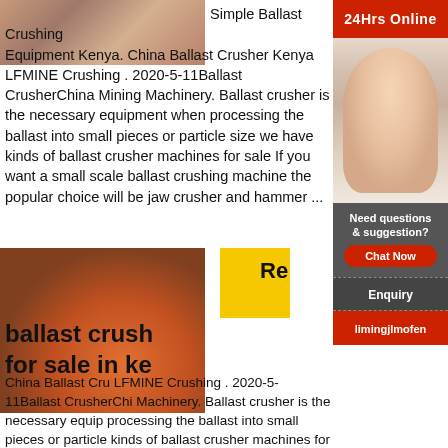[Figure (photo): Close-up photo of wooden ballast/planks texture at top left]
Simple Ballast Crushing Equipment Kenya. China Ballast Crusher Kenya LFMINE Crushing . 2020-5-11Ballast CrusherChina Mining Machinery. Ballast crusher is the necessary equipment when processing the ballast into small pieces or particle size we have kinds of ballast crusher machines for sale If you want a small scale ballast crushing machine the popular choice will be jaw crusher and hammer ...
[Figure (photo): Photo of orange/red large crusher equipment machine outdoors]
[Figure (photo): Yellow square block partially visible]
Re
ballast crush for sale in ke
China Ballast Cru LFMINE Crushing . 2020-5-11Ballast CrusherChi Machinery. Ballast crusher is the necessary equip processing the ballast into small pieces or particle kinds of ballast crusher machines for sale If you w
[Figure (photo): 24Hrs Online panel on right side with customer service representative photo, Need questions & suggestion, Chat Now button, Enquiry section, limingjlmofen brand]
24Hrs Online
Need questions & suggestion?
Chat Now
Enquiry
limingjlmofen